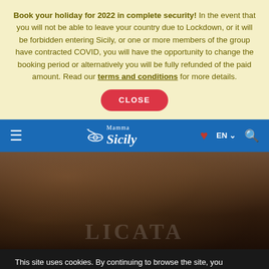Book your holiday for 2022 in complete security! In the event that you will not be able to leave your country due to Lockdown, or it will be forbidden entering Sicily, or one or more members of the group have contracted COVID, you will have the opportunity to change the booking period or alternatively you will be fully refunded of the paid amount. Read our terms and conditions for more details.
[Figure (screenshot): CLOSE button - red rounded pill button with white uppercase text]
[Figure (screenshot): Navigation bar with hamburger menu, Mamma Sicily logo, heart icon, EN language selector, and search icon on blue background]
[Figure (photo): Dark stone/rock texture background with faint LICATA text watermark]
This site uses cookies. By continuing to browse the site, you are agreeing to our use of cookies.
[Figure (screenshot): Cookie consent buttons: red OK button and FIND OUT MORE outlined button, with green WhatsApp chat bubble on right]